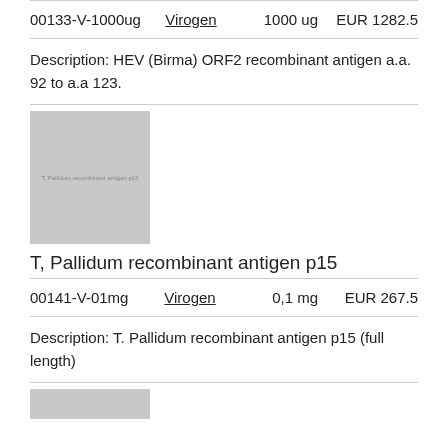| SKU | Vendor | Qty | Price |
| --- | --- | --- | --- |
| 00133-V-1000ug | Virogen | 1000 ug | EUR 1282.5 |
Description: HEV (Birma) ORF2 recombinant antigen a.a. 92 to a.a 123.
[Figure (photo): Product image placeholder for T. Pallidum recombinant antigen p15]
T, Pallidum recombinant antigen p15
| SKU | Vendor | Qty | Price |
| --- | --- | --- | --- |
| 00141-V-01mg | Virogen | 0,1 mg | EUR 267.5 |
Description: T. Pallidum recombinant antigen p15 (full length)
[Figure (photo): Product image placeholder (partial, bottom of page)]